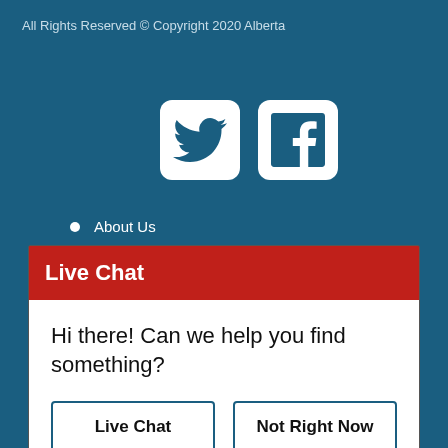All Rights Reserved © Copyright 2020 Alberta
[Figure (logo): Twitter bird icon in white rounded square box]
[Figure (logo): Facebook 'f' icon in white rounded square box]
About Us
Our Partners
Live Chat
Hi there! Can we help you find something?
Live Chat
Not Right Now